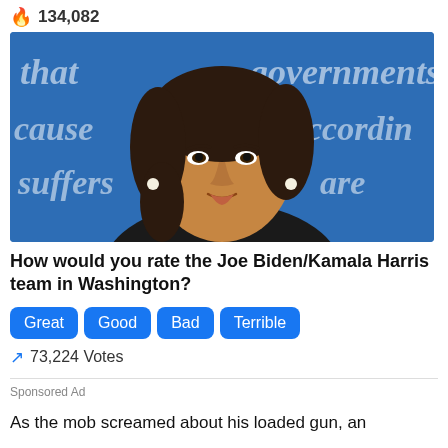134,082
[Figure (photo): Portrait photo of Kamala Harris at a debate, blue background with partial text visible (that, governments, cause, accords, suffers, are)]
How would you rate the Joe Biden/Kamala Harris team in Washington?
Great  Good  Bad  Terrible
73,224 Votes
Sponsored Ad
As the mob screamed about his loaded gun, an